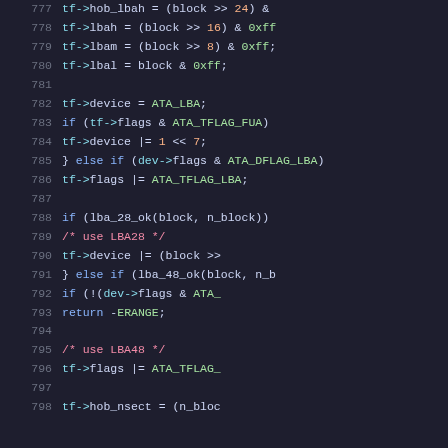[Figure (screenshot): Source code snippet (C language) showing lines 777-798 of a Linux kernel ATA driver, with syntax highlighting on a dark background. Lines include LBA28/LBA48 mode selection logic for ATA task files.]